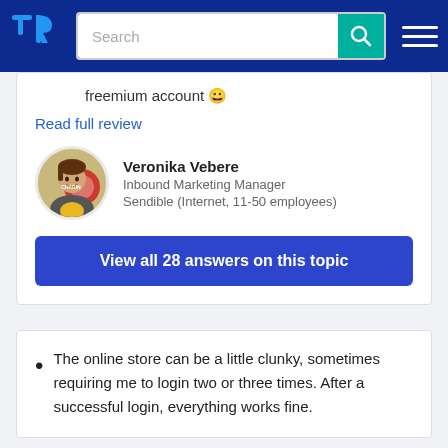TrustRadius navigation bar with search
freemium account 😊
Read full review
Veronika Vebere
Inbound Marketing Manager
Sendible (Internet, 11-50 employees)
View all 28 answers on this topic
The online store can be a little clunky, sometimes requiring me to login two or three times. After a successful login, everything works fine.